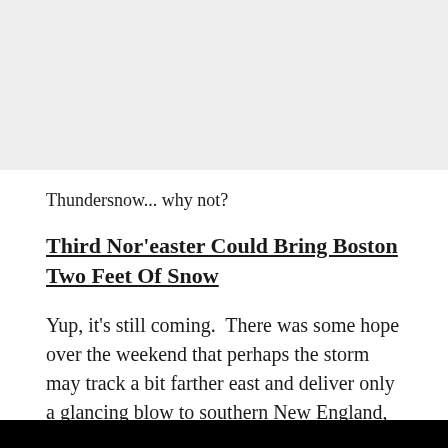[Figure (other): Gray background area at the top of the page]
Thundersnow... why not?
Third Nor'easter Could Bring Boston Two Feet Of Snow
Yup, it's still coming.  There was some hope over the weekend that perhaps the storm may track a bit farther east and deliver only a glancing blow to southern New England, that hope is now gone.